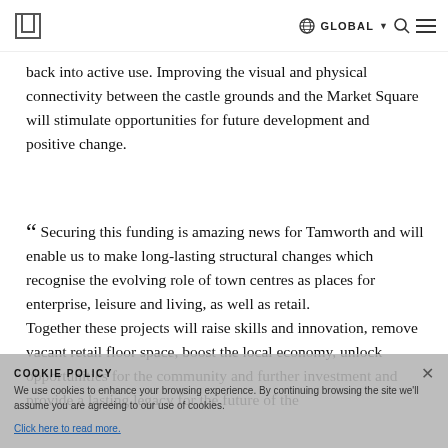GLOBAL
back into active use. Improving the visual and physical connectivity between the castle grounds and the Market Square will stimulate opportunities for future development and positive change.
“ Securing this funding is amazing news for Tamworth and will enable us to make long-lasting structural changes which recognise the evolving role of town centres as places for enterprise, leisure and living, as well as retail. Together these projects will raise skills and innovation, remove vacant retail floor space, boost the local economy, unlock opportunities for the community and further investment and provide a lasting legacy for the future of the
COOKIE POLICY
We use cookies to enhance your browsing experience. By continuing browsing the site we’ll assume you are agreeing to our use of cookies.
Click here to read more.